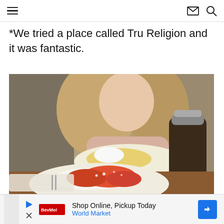Navigation header with hamburger menu, email icon, search icon
*We tried a place called Tru Religion and it was fantastic.
[Figure (photo): A young girl sitting at a restaurant table smiling at a plate of food with powdered sugar toppings and eggs. In the foreground is a plate of strawberry pancakes with whipped cream and powdered sugar. A syrup pitcher is visible on the right side.]
Shop Online, Pickup Today World Market